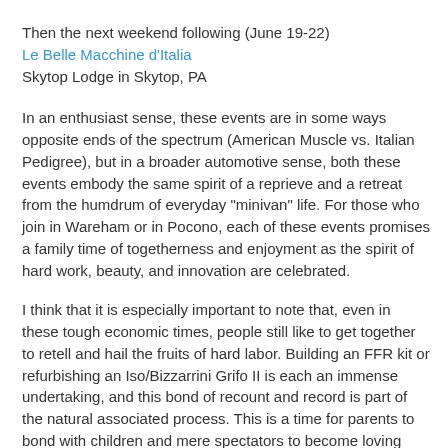Then the next weekend following (June 19-22)
Le Belle Macchine d'Italia
Skytop Lodge in Skytop, PA
In an enthusiast sense, these events are in some ways opposite ends of the spectrum (American Muscle vs. Italian Pedigree), but in a broader automotive sense, both these events embody the same spirit of a reprieve and a retreat from the humdrum of everyday "minivan" life. For those who join in Wareham or in Pocono, each of these events promises a family time of togetherness and enjoyment as the spirit of hard work, beauty, and innovation are celebrated.
I think that it is especially important to note that, even in these tough economic times, people still like to get together to retell and hail the fruits of hard labor. Building an FFR kit or refurbishing an Iso/Bizzarrini Grifo II is each an immense undertaking, and this bond of recount and record is part of the natural associated process. This is a time for parents to bond with children and mere spectators to become loving fans and customers for life.